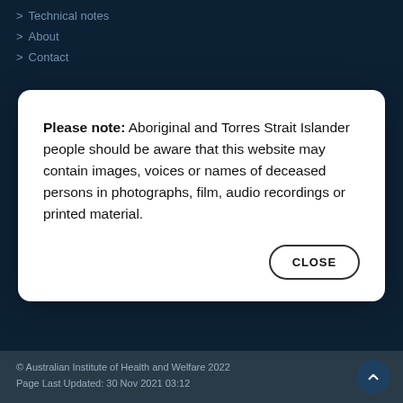> Technical notes
> About
> Contact
Please note: Aboriginal and Torres Strait Islander people should be aware that this website may contain images, voices or names of deceased persons in photographs, film, audio recordings or printed material.
© Australian Institute of Health and Welfare 2022
Page Last Updated: 30 Nov 2021 03:12